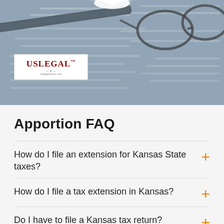[Figure (photo): Header image showing legal documents with glasses and pen resting on them, with a USLegal logo overlay in the lower left]
Apportion FAQ
How do I file an extension for Kansas State taxes?
How do I file a tax extension in Kansas?
Do I have to file a Kansas tax return?
Does Kansas accept federal extension for